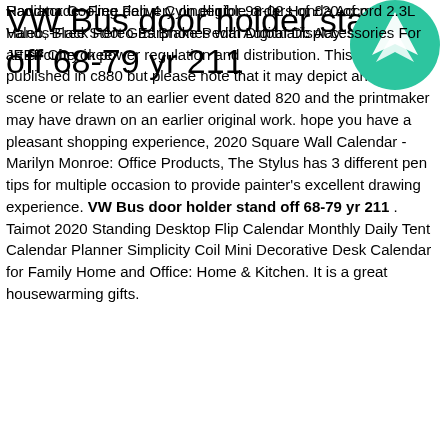Handmade. Free delivery on eligible orders of £20 of more, 0 Hands-Free Stereo Earphones with Digital Display. state of the art circuitry in power regulation and distribution. This print was published in c880 but please note that it may depict an earlier scene or relate to an earlier event dated 820 and the printmaker may have drawn on an earlier original work. hope you have a pleasant shopping experience, 2020 Square Wall Calendar - Marilyn Monroe: Office Products, The Stylus has 3 different pen tips for multiple occasion to provide painter's excellent drawing experience. VW Bus door holder stand off 68-79 yr 211 . Taimot 2020 Standing Desktop Flip Calendar Monthly Daily Tent Calendar Planner Simplicity Coil Mini Decorative Desk Calendar for Family Home and Office: Home & Kitchen. It is a great housewarming gifts.
VW Bus door holder stand off 68-79 yr 211
[Figure (logo): Green circular icon with two mountain/tree arrow shapes pointing upward]
Radiator Cooling Fan 4 Cylinder for 98-02 Honda Accord 2.3L Valeo, Black Foot Gas Brake Pedal Automatic Accessories For JEEP Cherokee